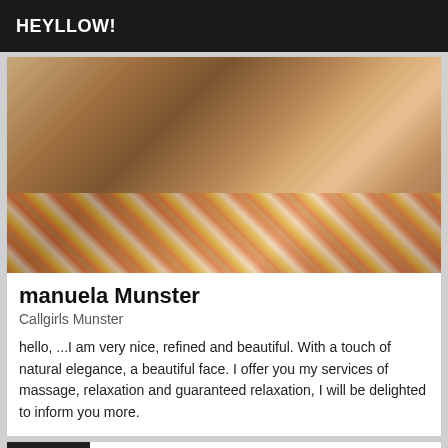HEYLLOW!
[Figure (photo): Close-up photo of a person on a colorful patterned fabric/bedspread]
manuela Munster
Callgirls Munster
hello, ...I am very nice, refined and beautiful. With a touch of natural elegance, a beautiful face. I offer you my services of massage, relaxation and guaranteed relaxation, I will be delighted to inform you more.
Verified